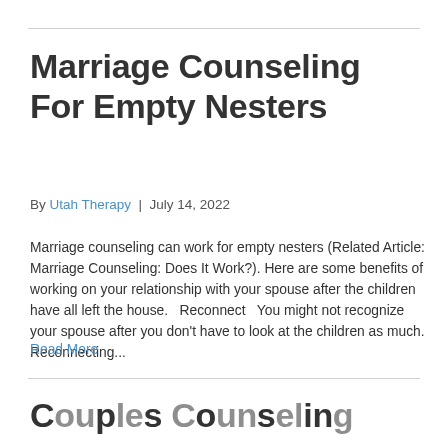Marriage Counseling For Empty Nesters
By Utah Therapy | July 14, 2022
Marriage counseling can work for empty nesters (Related Article: Marriage Counseling: Does It Work?). Here are some benefits of working on your relationship with your spouse after the children have all left the house.    Reconnect   You might not recognize your spouse after you don't have to look at the children as much. Reconnecting...
Read More
Couples Counseling